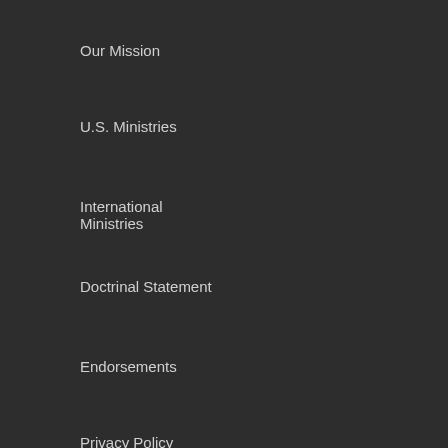Our Mission
U.S. Ministries
International Ministries
Doctrinal Statement
Endorsements
Privacy Policy
Full-Time Ministry
Job Opportunities
Master of Divinity
Volunteer
RESOURCES
Our Hope Podcast
Inside Israel
Articles
Online Store
Sharing Your Faith